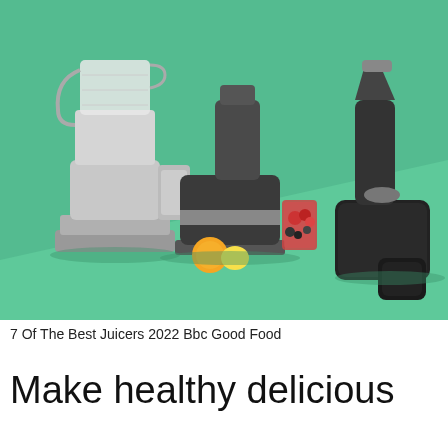[Figure (photo): Three juicers displayed on a teal/green background: a silver Breville-style juicer on the left, a black and stainless steel centrifugal juicer in the center with orange, lemon, and strawberries, and a black slow/masticating juicer on the right.]
7 Of The Best Juicers 2022 Bbc Good Food
Make healthy delicious